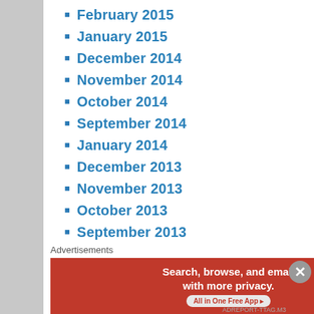February 2015
January 2015
December 2014
November 2014
October 2014
September 2014
January 2014
December 2013
November 2013
October 2013
September 2013
August 2013
July 2013
June 2013
May 2013
April 2013
March 2013
February 2013
Advertisements
[Figure (infographic): DuckDuckGo advertisement banner: Search, browse, and email with more privacy. All in One Free App. Shows DuckDuckGo duck logo on dark background.]